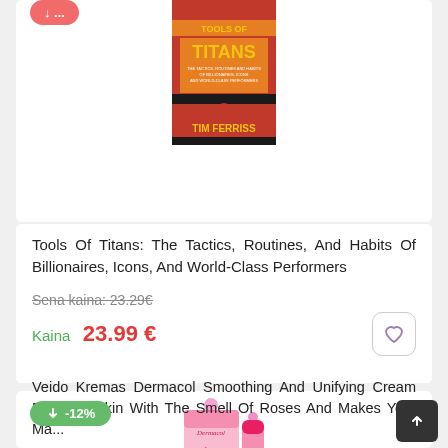[Figure (photo): Book cover of Tools of Titans by Tim Ferriss with red/orange background and yellow title text]
Tools Of Titans: The Tactics, Routines, And Habits Of Billionaires, Icons, And World-Class Performers
Sena kaina: 23.29€
Kaina  23.99 €
[Figure (photo): Dermacol Love by Fabie pink skincare cream product box and tube]
Veido Kremas Dermacol Smoothing And Unifying Cream For Your Skin With The Smell Of Roses And Makes Your Mas...